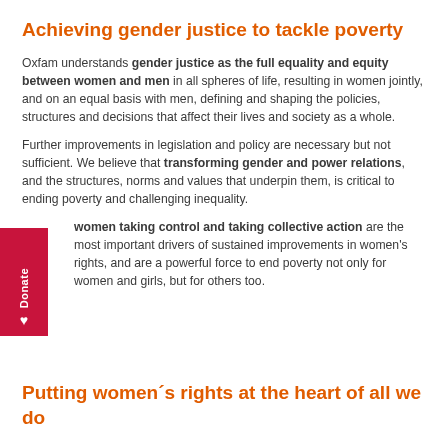Achieving gender justice to tackle poverty
Oxfam understands gender justice as the full equality and equity between women and men in all spheres of life, resulting in women jointly, and on an equal basis with men, defining and shaping the policies, structures and decisions that affect their lives and society as a whole.
Further improvements in legislation and policy are necessary but not sufficient. We believe that transforming gender and power relations, and the structures, norms and values that underpin them, is critical to ending poverty and challenging inequality.
We believe that women taking control and taking collective action are the most important drivers of sustained improvements in women's rights, and are a powerful force to end poverty not only for women and girls, but for others too.
Putting women's rights at the heart of all we do